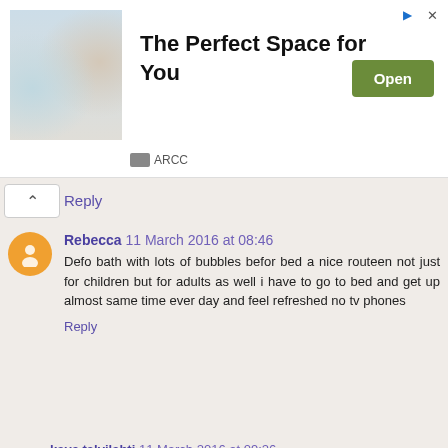[Figure (other): Advertisement banner: photo of a wedding venue with round tables set with white cloths and floral centerpieces. Text reads 'The Perfect Space for You'. Green 'Open' button. Brand name 'ARCC'.]
Reply
Rebecca  11 March 2016 at 08:46
Defo bath with lots of bubbles befor bed a nice routeen not just for children but for adults as well i have to go to bed and get up almost same time ever day and feel refreshed no tv phones
Reply
kaye talvilahti  11 March 2016 at 09:26
I think the biggest tip is sticking to a routine, esp with young children
Reply